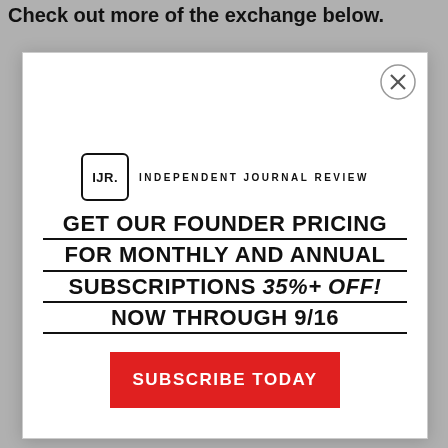Check out more of the exchange below.
[Figure (screenshot): Modal popup advertisement for Independent Journal Review founder pricing subscription deal. Shows IJR logo, promotional text 'GET OUR FOUNDER PRICING FOR MONTHLY AND ANNUAL SUBSCRIPTIONS 35%+ OFF! NOW THROUGH 9/16', and a red 'SUBSCRIBE TODAY' button. Has an X close button in the top right corner.]